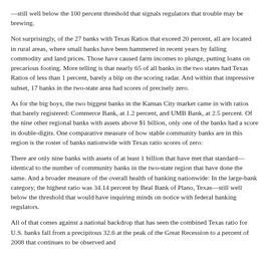—still well below the 100 percent threshold that signals regulators that trouble may be brewing.
Not surprisingly, of the 27 banks with Texas Ratios that exceed 20 percent, all are located in rural areas, where small banks have been hammered in recent years by falling commodity and land prices. Those have caused farm incomes to plunge, putting loans on precarious footing. More telling is that nearly 65 of all banks in the two states had Texas Ratios of less than 1 percent, barely a blip on the scoring radar. And within that impressive subset, 17 banks in the two-state area had scores of precisely zero.
As for the big boys, the two biggest banks in the Kansas City market came in with ratios that barely registered: Commerce Bank, at 1.2 percent, and UMB Bank, at 2.5 percent. Of the nine other regional banks with assets above $1 billion, only one of the banks had a score in double-digits. One comparative measure of how stable community banks are in this region is the roster of banks nationwide with Texas ratio scores of zero:
There are only nine banks with assets of at least 1 billion that have met that standard—identical to the number of community banks in the two-state region that have done the same. And a broader measure of the overall health of banking nationwide: In the large-bank category, the highest ratio was 34.14 percent by Beal Bank of Plano, Texas—still well below the threshold that would have inquiring minds on notice with federal banking regulators.
All of that comes against a national backdrop that has seen the combined Texas ratio for U.S. banks fall from a precipitous 32.6 at the peak of the Great Depression-era percent to a year of 2008 that continues to be observed and...